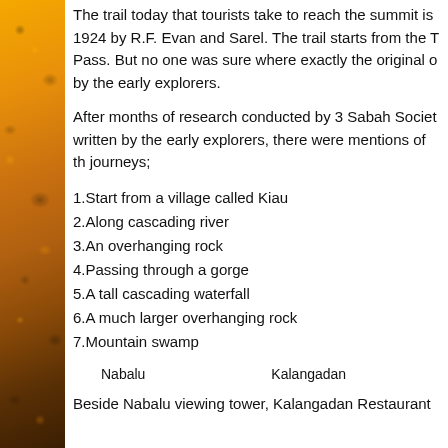[Figure (photo): Left side decorative image of sunflower with yellow, orange, and dark brown colors forming a vertical strip]
The trail today that tourists take to reach the summit is 1924 by R.F. Evan and Sarel. The trail starts from the T Pass. But no one was sure where exactly the original o by the early explorers.
After months of research conducted by 3 Sabah Societ written by the early explorers, there were mentions of th journeys;
1.Start from a village called Kiau
2.Along cascading river
3.An overhanging rock
4.Passing through a gorge
5.A tall cascading waterfall
6.A much larger overhanging rock
7.Mountain swamp
Nabalu　　　　　　　　　Kalangadan
Beside Nabalu viewing tower, Kalangadan Restaurant